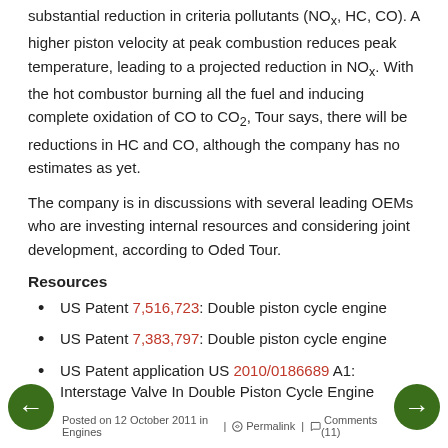substantial reduction in criteria pollutants (NOx, HC, CO). A higher piston velocity at peak combustion reduces peak temperature, leading to a projected reduction in NOx. With the hot combustor burning all the fuel and inducing complete oxidation of CO to CO2, Tour says, there will be reductions in HC and CO, although the company has no estimates as yet.
The company is in discussions with several leading OEMs who are investing internal resources and considering joint development, according to Oded Tour.
Resources
US Patent 7,516,723: Double piston cycle engine
US Patent 7,383,797: Double piston cycle engine
US Patent application US 2010/0186689 A1: Interstage Valve In Double Piston Cycle Engine
Posted on 12 October 2011 in Engines | Permalink | Comments (11)